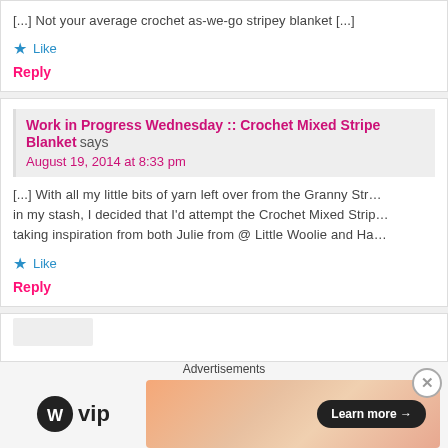[...] Not your average crochet as-we-go stripey blanket [...]
Like
Reply
Work in Progress Wednesday :: Crochet Mixed Stripe Blanket says August 19, 2014 at 8:33 pm
[...] With all my little bits of yarn left over from the Granny Str… in my stash, I decided that I'd attempt the Crochet Mixed Strip… taking inspiration from both Julie from @ Little Woolie and Ha…
Like
Reply
[Figure (other): Partial comment block at bottom, with Advertisements bar showing WordPress VIP logo and a Learn More banner ad with close button]